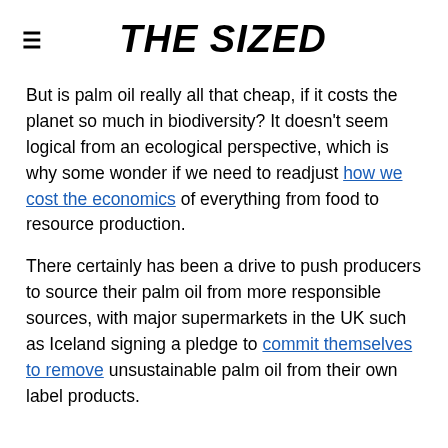THE SIZED
But is palm oil really all that cheap, if it costs the planet so much in biodiversity? It doesn't seem logical from an ecological perspective, which is why some wonder if we need to readjust how we cost the economics of everything from food to resource production.
There certainly has been a drive to push producers to source their palm oil from more responsible sources, with major supermarkets in the UK such as Iceland signing a pledge to commit themselves to remove unsustainable palm oil from their own label products.